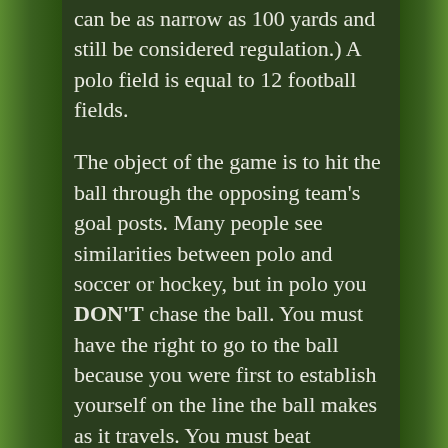can be as narrow as 100 yards and still be considered regulation.) A polo field is equal to 12 football fields.
The object of the game is to hit the ball through the opposing team's goal posts. Many people see similarities between polo and soccer or hockey, but in polo you DON'T chase the ball. You must have the right to go to the ball because you were first to establish yourself on the line the ball makes as it travels. You must beat someone to the ball, or "take a man out" to earn the right to go to the ball, or you must establish yourself where you think the next hit is going to go. Once a polo ball is hit, or even kicked by a horse, it